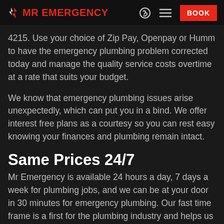MR EMERGENCY | BOOK
4215. Use your choice of Zip Pay, Openpay or Humm to have the emergency plumbing problem corrected today and manage the quality service costs overtime at a rate that suits your budget.
We know that emergency plumbing issues arise unexpectedly, which can put you in a bind. We offer interest free plans as a courtesy so you can rest easy knowing your finances and plumbing remain intact.
Same Prices 24/7
Mr Emergency is available 24 hours a day, 7 days a week for plumbing jobs, and we can be at your door in 30 minutes for emergency plumbing. Our fast time frame is a first for the plumbing industry and helps us stand out from